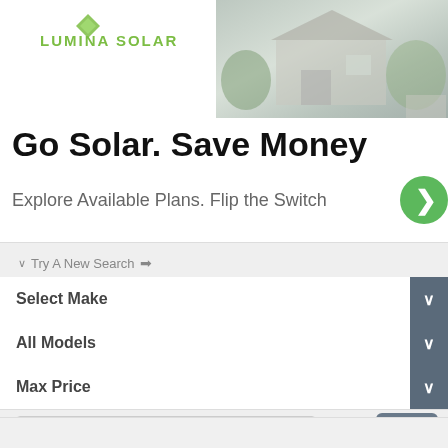[Figure (logo): Lumina Solar logo with green leaf icon and green text]
[Figure (photo): Aerial or wide-angle photo of a house with grey/green tones]
Go Solar. Save Money
Explore Available Plans. Flip the Switch
Try A New Search
Select Make
All Models
Max Price
zip code
search
⊕ Top